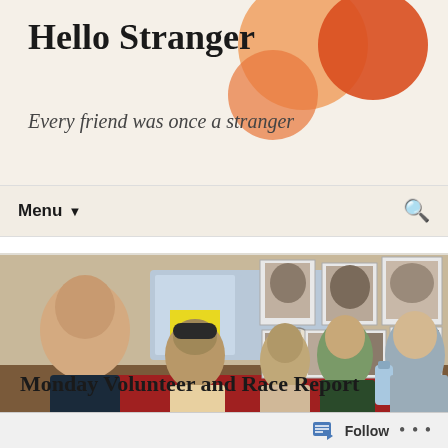Hello Stranger
Every friend was once a stranger
Menu ▾
[Figure (photo): Group selfie of six people in an indoor room with black and white portrait photos on the wall behind them. A bald man is in the foreground taking the selfie, with four young women and another person seated around a red table.]
Monday Volunteer and Race Report
⊙ November 21, 2017   ▸ Uncategorized   🏷 #360 racing,